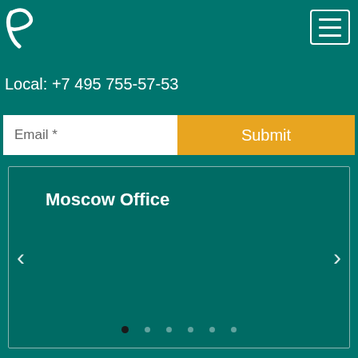[Figure (logo): White stylized letter P logo on teal background]
[Figure (other): Hamburger menu icon with three horizontal lines inside a rounded rectangle border]
Local: +7 495 755-57-53
Email *
Submit
Moscow Office
[Figure (other): Teal carousel panel showing Moscow Office with left/right navigation arrows and 6 pagination dots at the bottom, first dot active]